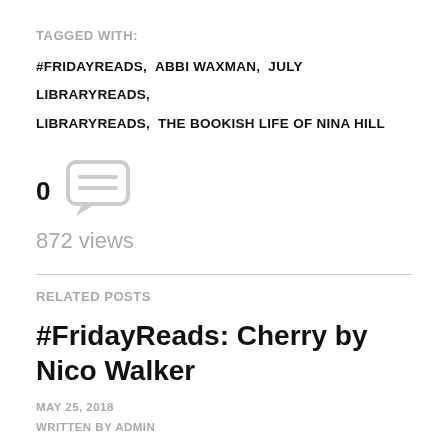TAGGED WITH:
#FRIDAYREADS,  ABBI WAXMAN,  JULY LIBRARYREADS,  LIBRARYREADS,  THE BOOKISH LIFE OF NINA HILL
0
872 views
RELATED POSTS
#FridayReads: Cherry by Nico Walker
MAY 25, 2018
WRITTEN BY ADMIN
Jesus' Son meets Reservoir Dogs in a breakneck-